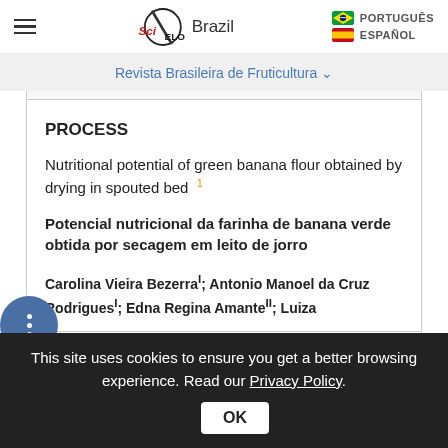SciELO Brazil | PORTUGUÊS | ESPAÑOL
Revista Brasileira de Fruticultura
PROCESS
Nutritional potential of green banana flour obtained by drying in spouted bed 1
Potencial nutricional da farinha de banana verde obtida por secagem em leito de jorro
Carolina Vieira Bezerra I; Antonio Manoel da Cruz Rodrigues I; Edna Regina Amante II; Luiza
This site uses cookies to ensure you get a better browsing experience. Read our Privacy Policy.